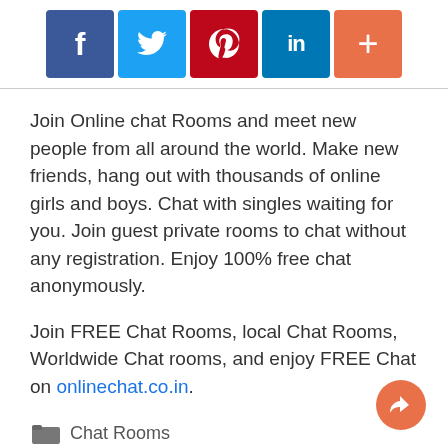[Figure (infographic): Social media share buttons: Facebook (blue), Twitter (light blue), Pinterest (dark red), LinkedIn (blue), plus/more (orange-red)]
Join Online chat Rooms and meet new people from all around the world. Make new friends, hang out with thousands of online girls and boys. Chat with singles waiting for you. Join guest private rooms to chat without any registration. Enjoy 100% free chat anonymously.
Join FREE Chat Rooms, local Chat Rooms, Worldwide Chat rooms, and enjoy FREE Chat on onlinechat.co.in.
Chat Rooms
Chat online with Tennessee friends without registration